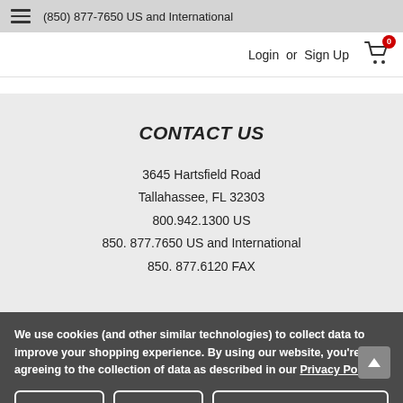(850) 877-7650 US and International
Login or Sign Up
CONTACT US
3645 Hartsfield Road
Tallahassee, FL 32303
800.942.1300 US
850. 877.7650 US and International
850. 877.6120 FAX
We use cookies (and other similar technologies) to collect data to improve your shopping experience. By using our website, you're agreeing to the collection of data as described in our Privacy Policy.